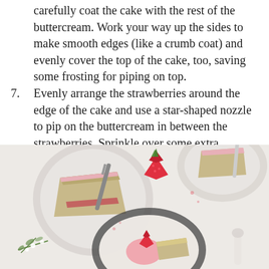carefully coat the cake with the rest of the buttercream. Work your way up the sides to make smooth edges (like a crumb coat) and evenly cover the top of the cake, too, saving some frosting for piping on top.
7. Evenly arrange the strawberries around the edge of the cake and use a star-shaped nozzle to pip on the buttercream in between the strawberries. Sprinkle over some extra strawberry powder.
8. Enjoy straight away or store in an airtight container in the fridge, if warm, for 3-5 days.
[Figure (photo): Overhead photo of cake slices on ceramic plates with pink frosting, fresh strawberries, and forks on a white surface with greenery]